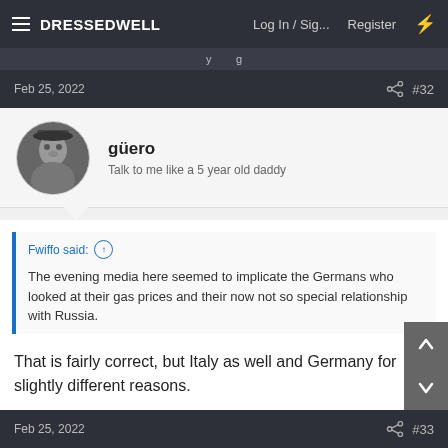DRESSEDWELL  Log In / Sig...  Register
Feb 25, 2022   #32
güero
Talk to me like a 5 year old daddy
Fwiffo said: ↑

The evening media here seemed to implicate the Germans who looked at their gas prices and their now not so special relationship with Russia.
That is fairly correct, but Italy as well and Germany for slightly different reasons.
Feb 25, 2022   #33